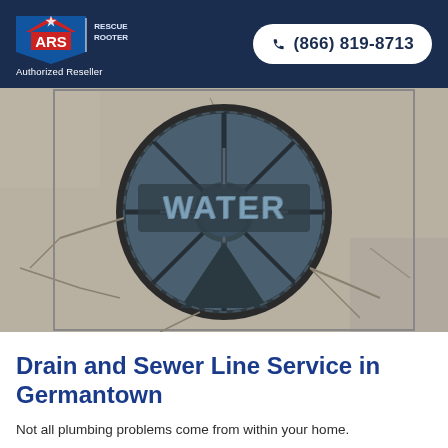ARS Rescue Rooter | Authorized Reseller | (866) 819-8713
[Figure (photo): Close-up photo of a circular cast iron water main cover set in cracked concrete pavement, with the word WATER embossed on it in bold letters.]
Drain and Sewer Line Service in Germantown
Not all plumbing problems come from within your home.